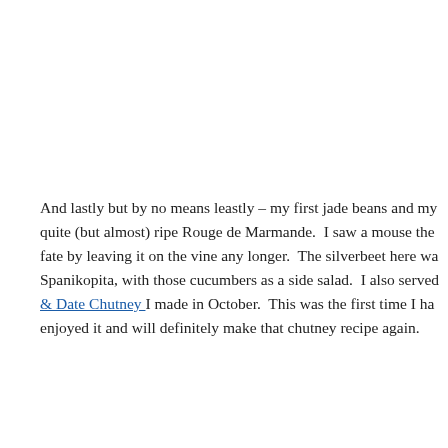And lastly but by no means leastly – my first jade beans and my quite (but almost) ripe Rouge de Marmande.  I saw a mouse the fate by leaving it on the vine any longer.  The silverbeet here wa Spanikopita, with those cucumbers as a side salad.  I also served & Date Chutney I made in October.  This was the first time I ha enjoyed it and will definitely make that chutney recipe again.